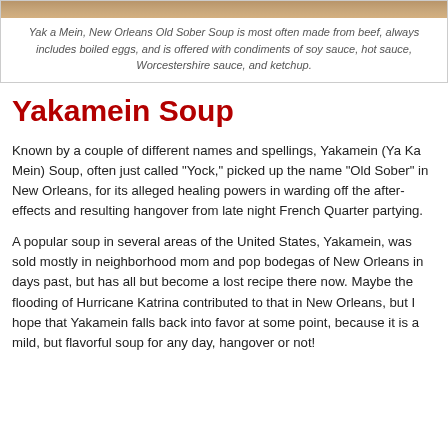[Figure (photo): Top portion of a bowl of Yak a Mein / Yakamein soup, cropped image showing the top of the dish.]
Yak a Mein, New Orleans Old Sober Soup is most often made from beef, always includes boiled eggs, and is offered with condiments of soy sauce, hot sauce, Worcestershire sauce, and ketchup.
Yakamein Soup
Known by a couple of different names and spellings, Yakamein (Ya Ka Mein) Soup, often just called "Yock," picked up the name "Old Sober" in New Orleans, for its alleged healing powers in warding off the after-effects and resulting hangover from late night French Quarter partying.
A popular soup in several areas of the United States, Yakamein, was sold mostly in neighborhood mom and pop bodegas of New Orleans in days past, but has all but become a lost recipe there now. Maybe the flooding of Hurricane Katrina contributed to that in New Orleans, but I hope that Yakamein falls back into favor at some point, because it is a mild, but flavorful soup for any day, hangover or not!